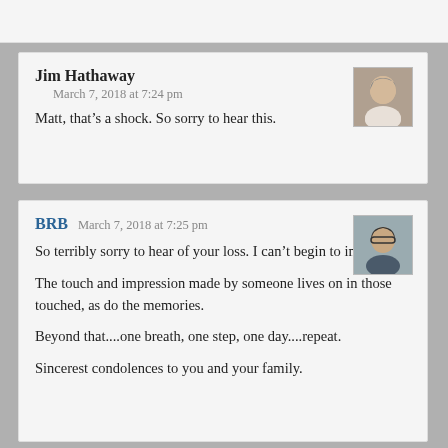Jim Hathaway
March 7, 2018 at 7:24 pm
Matt, that's a shock. So sorry to hear this.
[Figure (photo): Thumbnail avatar photo of Jim Hathaway, an older man in profile]
BRB  March 7, 2018 at 7:25 pm
So terribly sorry to hear of your loss. I can't begin to imagine.

The touch and impression made by someone lives on in those touched, as do the memories.

Beyond that....one breath, one step, one day....repeat.

Sincerest condolences to you and your family.
[Figure (photo): Thumbnail avatar photo of BRB, a man with glasses]